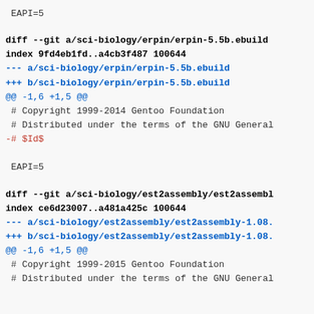EAPI=5
diff --git a/sci-biology/erpin/erpin-5.5b.ebuild
index 9fd4eb1fd..a4cb3f487 100644
--- a/sci-biology/erpin/erpin-5.5b.ebuild
+++ b/sci-biology/erpin/erpin-5.5b.ebuild
@@ -1,6 +1,5 @@
 # Copyright 1999-2014 Gentoo Foundation
 # Distributed under the terms of the GNU General
-# $Id$

 EAPI=5
diff --git a/sci-biology/est2assembly/est2assembl
index ce6d23007..a481a425c 100644
--- a/sci-biology/est2assembly/est2assembly-1.08.
+++ b/sci-biology/est2assembly/est2assembly-1.08.
@@ -1,6 +1,5 @@
 # Copyright 1999-2015 Gentoo Foundation
 # Distributed under the terms of the GNU General